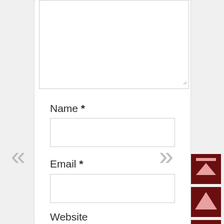[Figure (screenshot): Large textarea input box (comment field) at the top of a web form]
Name *
[Figure (screenshot): Text input field for Name]
Email *
[Figure (screenshot): Text input field for Email]
Website
[Figure (screenshot): Text input field for Website (partially visible)]